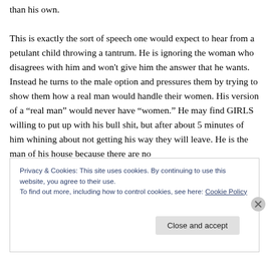than his own.

This is exactly the sort of speech one would expect to hear from a petulant child throwing a tantrum. He is ignoring the woman who disagrees with him and won't give him the answer that he wants. Instead he turns to the male option and pressures them by trying to show them how a real man would handle their women. His version of a "real man" would never have "women." He may find GIRLS willing to put up with his bull shit, but after about 5 minutes of him whining about not getting his way they will leave. He is the man of his house because there are no
Privacy & Cookies: This site uses cookies. By continuing to use this website, you agree to their use.
To find out more, including how to control cookies, see here: Cookie Policy